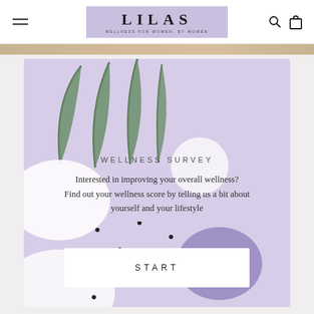LILAS — WELLNESS FOR WOMEN, BY WOMEN
[Figure (illustration): Wellness survey card with lavender background, decorative botanical leaf illustration, abstract white and purple blobs, scattered dots, and a START button. Text reads WELLNESS SURVEY, Interested in improving your overall wellness? Find out your wellness score by telling us a bit about yourself and your lifestyle]
WELLNESS SURVEY
Interested in improving your overall wellness? Find out your wellness score by telling us a bit about yourself and your lifestyle
START